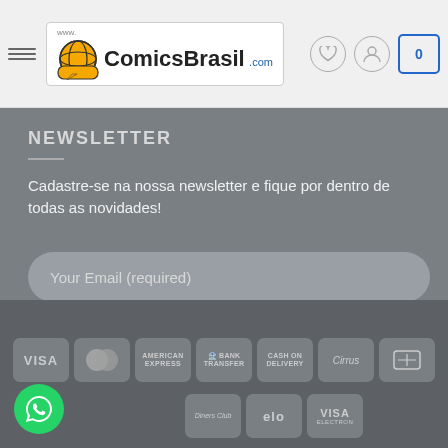www.ComicsBrasil.com
NEWSLETTER
Cadastre-se na nossa newsletter e fique por dentro de todas as novidades!
Your Email (required)
SIGN UP
[Figure (infographic): Payment method icons: VISA, MasterCard, American Express, Bank Transfer, Cash on Delivery, Cirrus, card icon, Diners Club, Elo, VISA Electron]
[Figure (logo): WhatsApp green circle icon in bottom left corner]